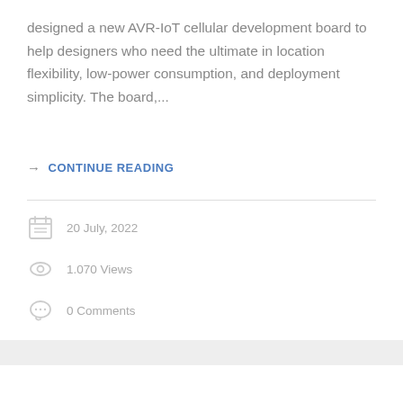designed a new AVR-IoT cellular development board to help designers who need the ultimate in location flexibility, low-power consumption, and deployment simplicity. The board,...
→ CONTINUE READING
20 July, 2022
1.070 Views
0 Comments